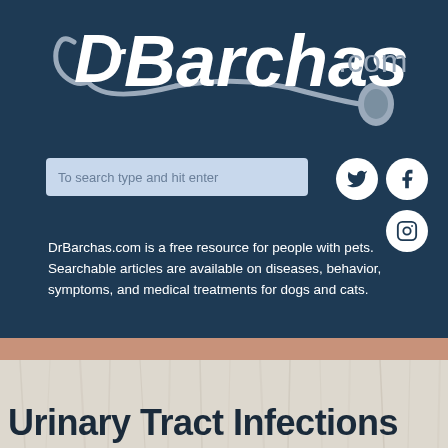[Figure (logo): DrBarchas.com logo with stethoscope graphic on dark navy background]
[Figure (screenshot): Search bar with placeholder text 'To search type and hit enter' and social media icons (Twitter, Facebook, Instagram)]
DrBarchas.com is a free resource for people with pets. Searchable articles are available on diseases, behavior, symptoms, and medical treatments for dogs and cats.
Urinary Tract Infections